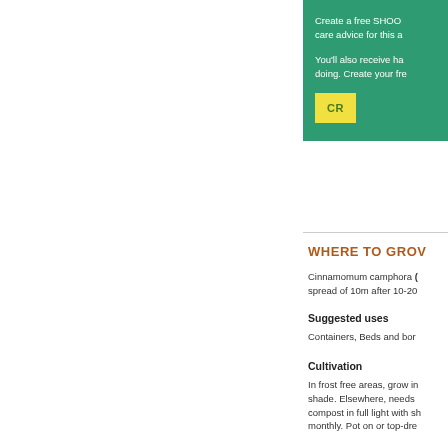Create a free SHOO care advice for this a
You'll also receive ha doing. Create your fre
CR
WHERE TO GROV
Cinnamomum camphora ( spread of 10m after 10-20
Suggested uses
Containers, Beds and bor
Cultivation
In frost free areas, grow in shade. Elsewhere, needs compost in full light with sh monthly. Pot on or top-dre